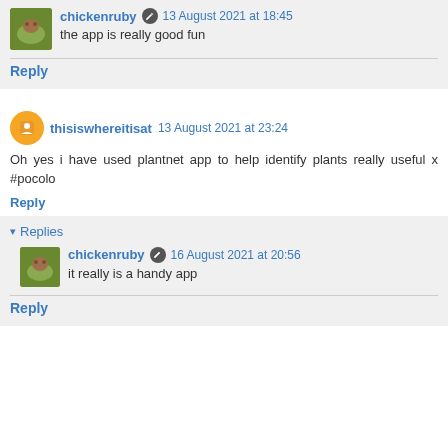chickenruby  13 August 2021 at 18:45
the app is really good fun
Reply
thisiswhereitisat  13 August 2021 at 23:24
Oh yes i have used plantnet app to help identify plants really useful x #pocolo
Reply
▾ Replies
chickenruby  16 August 2021 at 20:56
it really is a handy app
Reply